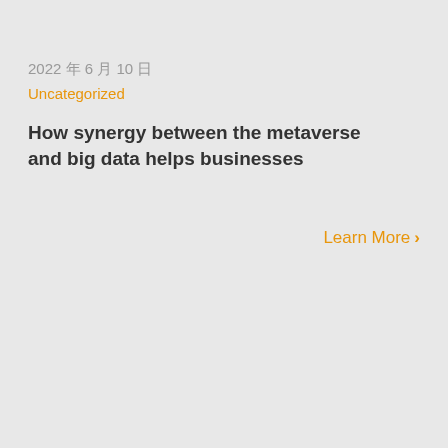2022 年 6 月 10 日
Uncategorized
How synergy between the metaverse and big data helps businesses
Learn More ›